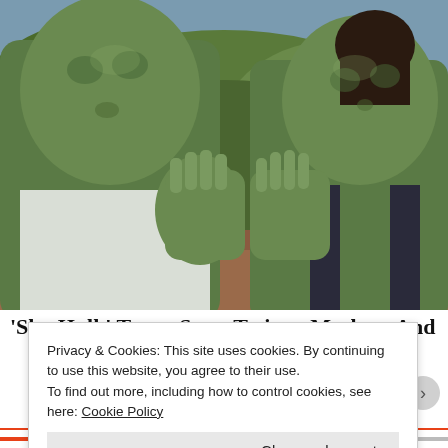[Figure (photo): Two green-skinned Hulk characters (a male and female) facing each other with palms pressed together in a training/meditation pose, outdoors with green foliage in background. From the Marvel show 'She-Hulk'.]
'She-Hulk' Team, Stars Tatiana Maslany And
Privacy & Cookies: This site uses cookies. By continuing to use this website, you agree to their use.
To find out more, including how to control cookies, see here: Cookie Policy
Close and accept